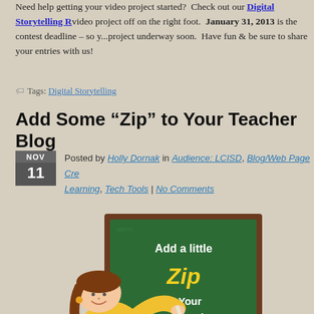Need help getting your video project started?  Check out our Digital Storytelling R... video project off on the right foot.  January 31, 2013 is the contest deadline – so y... project underway soon.  Have fun & be sure to share your entries with us!
Tags: Digital Storytelling
Add Some “Zip” to Your Teacher Blog
Posted by Holly Dornak in Audience: LCISD, Blog/Web Page Cre..., Learning, Tech Tools | No Comments
[Figure (illustration): Cartoon illustration of a teacher writing on a green chalkboard. The chalkboard reads 'Add a little Zip to Your Teacher Blog' with 'Zip' in yellow stylized text. The teacher is wearing a yellow outfit. Attribution: philipmartin.info]